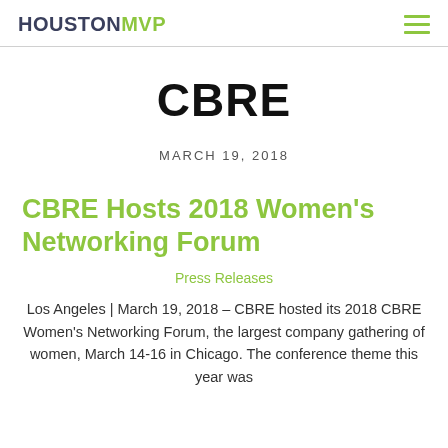HOUSTONMVP
CBRE
MARCH 19, 2018
CBRE Hosts 2018 Women's Networking Forum
Press Releases
Los Angeles | March 19, 2018 – CBRE hosted its 2018 CBRE Women's Networking Forum, the largest company gathering of women, March 14-16 in Chicago. The conference theme this year was